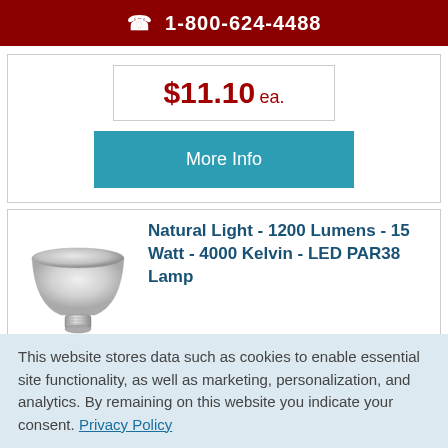📞 1-800-624-4488
$11.10 ea.
More Info
[Figure (photo): Silver PAR38 LED lamp bulb, conical shape with metallic finish]
Natural Light - 1200 Lumens - 15 Watt - 4000 Kelvin - LED PAR38 Lamp
This website stores data such as cookies to enable essential site functionality, as well as marketing, personalization, and analytics. By remaining on this website you indicate your consent. Privacy Policy